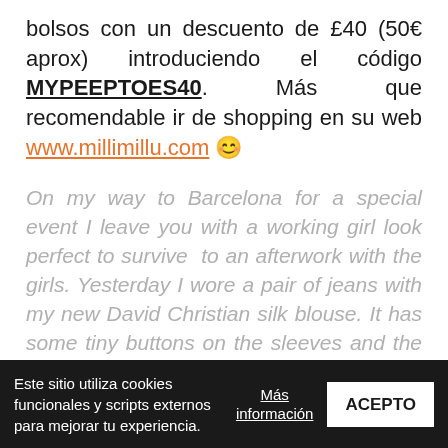bolsos con un descuento de £40 (50€ aprox) introduciendo el código MYPEEPTOES40. Más que recomendable ir de shopping en su web www.millimillu.com 😊
On my way to Barcelona for a special event I leave you with a working girl look perfect to survive to an afterwork with the girls. Yesterday I wore a pair of jeans with my new David Christian silk blouse. It has some tiny buttons on the sleeves and the most appetizing color… I put the final touch with my new Milli Millu bicolor maxi bag. It's an amazing handbag brand that I discovered before summer and you must
Este sitio utiliza cookies funcionales y scripts externos para mejorar tu experiencia.
Más información
ACEPTO